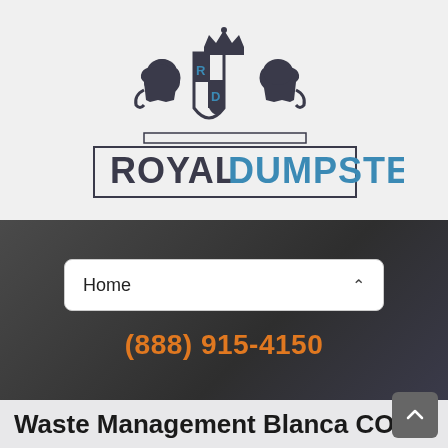[Figure (logo): Royal Dumpster logo with heraldic crest featuring two lions flanking a shield with R and D letters, crown on top, and text ROYAL DUMPSTER below]
Home
(888) 915-4150
Waste Management Blanca CO